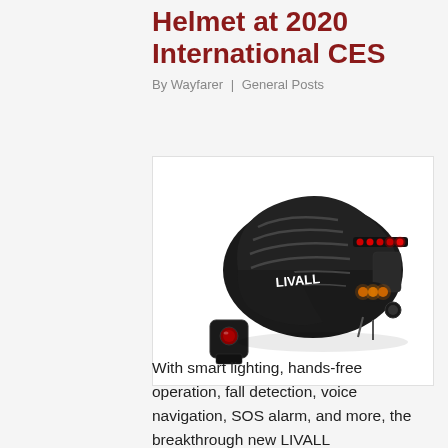Helmet at 2020 International CES
By Wayfarer | General Posts
[Figure (photo): LIVALL smart cycling helmet in black with red LED lights on the back and orange turn signal LEDs on the side, showing the LIVALL branding. A small remote control device is shown in front.]
With smart lighting, hands-free operation, fall detection, voice navigation, SOS alarm, and more, the breakthrough new LIVALL